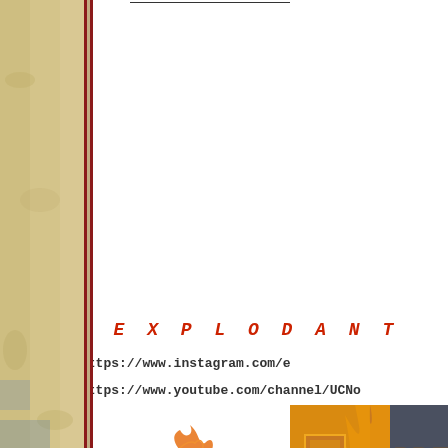[Figure (illustration): Left sidebar with aged parchment/paper texture in tan/beige tones with a dark red vertical border line on the right edge of the sidebar]
- E X P L O D A N T
https://www.instagram.com/e
https://www.youtube.com/channel/UCNo
[Figure (illustration): Breaking (title card) image with golden/orange flames background, shield emblem with flame icon, text 'BREAKING' in gold letters. Credits visible: Hannah the Wise, Ellisonn, XSPEEDRACERX]